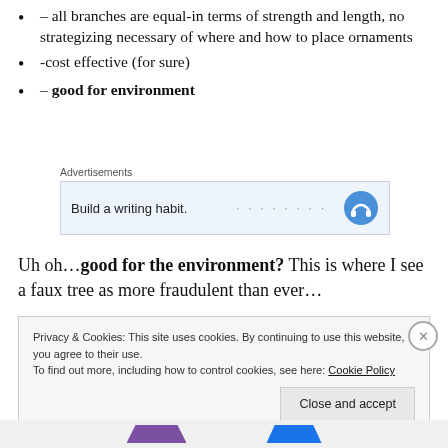– all branches are equal-in terms of strength and length, no strategizing necessary of where and how to place ornaments
-cost effective (for sure)
– good for environment
[Figure (screenshot): Advertisement banner: 'Advertisements' label above a light blue box reading 'Build a writing habit.' with blue dotted underline and a headphone icon]
Uh oh…good for the environment?  This is where I see a faux tree as more fraudulent than ever…
Privacy & Cookies: This site uses cookies. By continuing to use this website, you agree to their use. To find out more, including how to control cookies, see here: Cookie Policy
Close and accept